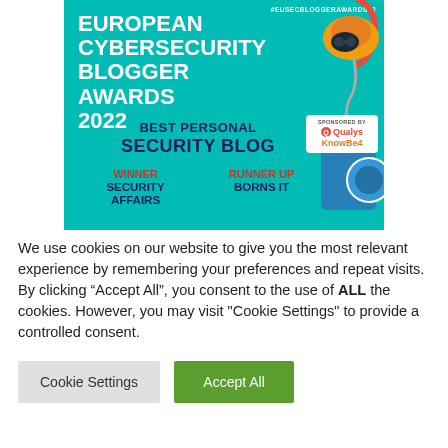[Figure (infographic): European Cybersecurity Blogger Awards 2022 banner with teal background. Shows 'Best Personal Security Blog' category. Winner: Security Affairs, Runner Up: Borns IT. Sponsored by Qualys and KnowBe4. Decorative illustration of USB device and hacker figure. Hashtag #EUSecBloggerAwards22.]
We use cookies on our website to give you the most relevant experience by remembering your preferences and repeat visits. By clicking “Accept All”, you consent to the use of ALL the cookies. However, you may visit "Cookie Settings" to provide a controlled consent.
Cookie Settings
Accept All